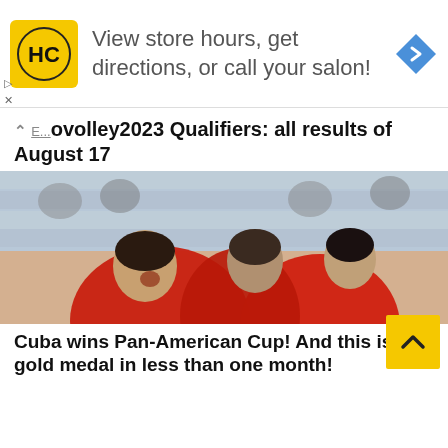[Figure (screenshot): Advertisement banner with HC Supercuts logo, text 'View store hours, get directions, or call your salon!', and a blue navigation arrow icon]
Eurovolley2023 Qualifiers: all results of August 17
[Figure (photo): Volleyball players in red jerseys (ALÉ #6 and MIGUEL #12) celebrating together on court]
Cuba wins Pan-American Cup! And this is 2nd gold medal in less than one month!